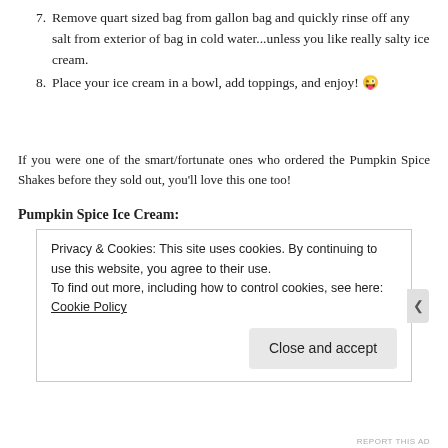7. Remove quart sized bag from gallon bag and quickly rinse off any salt from exterior of bag in cold water...unless you like really salty ice cream.
8. Place your ice cream in a bowl, add toppings, and enjoy! 😜
If you were one of the smart/fortunate ones who ordered the Pumpkin Spice Shakes before they sold out, you'll love this one too!
Pumpkin Spice Ice Cream:
Privacy & Cookies: This site uses cookies. By continuing to use this website, you agree to their use.
To find out more, including how to control cookies, see here: Cookie Policy
Close and accept